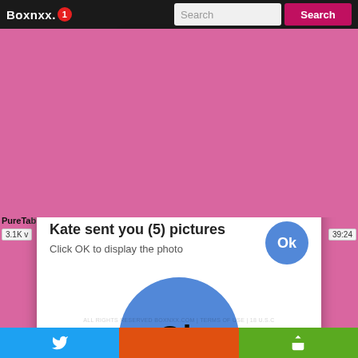[Figure (screenshot): Screenshot of adult video website 'Boxnxx' with two advertising popups overlaid. Top popup shows adult content ad with title 'He Came Inside Her Thai...' and text 'Exclusive Free Asian Xxx videos Enjoy', attributed to ClickAdilla. Bottom popup shows 'Kate sent you (5) pictures / Click OK to display the photo' with an Ok button, attributed to ClickAdilla. Background is pink/magenta. Bottom bar has Twitter, orange, and share buttons.]